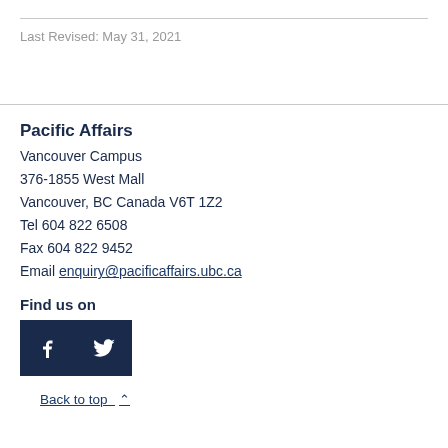Last Revised: May 31, 2021
Pacific Affairs
Vancouver Campus
376-1855 West Mall
Vancouver, BC Canada V6T 1Z2
Tel 604 822 6508
Fax 604 822 9452
Email enquiry@pacificaffairs.ubc.ca
Find us on
[Figure (logo): Facebook and Twitter social media icon buttons in dark navy blue]
Back to top ∧